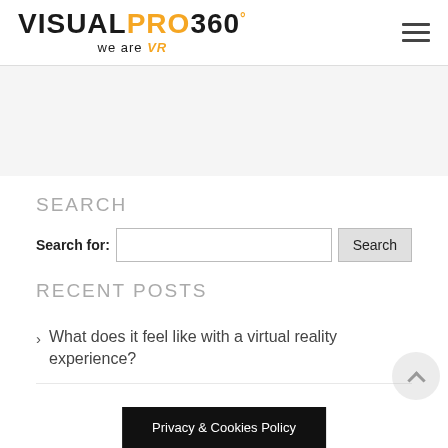[Figure (logo): VisualPro360 logo with 'we are VR' tagline. VISUALPRO in black bold, 360 in black with degree symbol in orange, PRO and degree symbol in orange. Subtitle: 'we are VR' with VR in orange italic.]
SEARCH
Search for:
RECENT POSTS
What does it feel like with a virtual reality experience?
Privacy & Cookies Policy